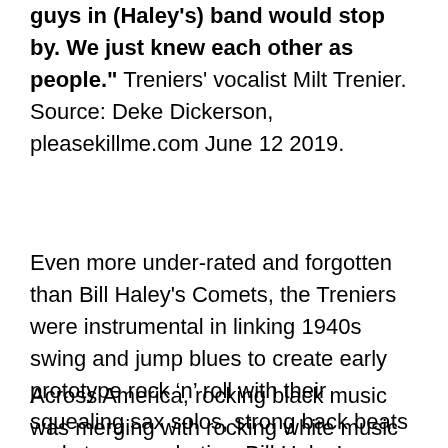guys in (Haley's) band would stop by. We just knew each other as people." Treniers' vocalist Milt Trenier. Source: Deke Dickerson, pleasekillme.com June 12 2019.
Even more under-rated and forgotten than Bill Haley's Comets, the Treniers were instrumental in linking 1940s swing and jump blues to create early prototype rock ‘n’ roll with their squealing sax solos, strong back beats and stage acrobatics. Bill Haley’s saxophonist, Joey D’Ambrosio, once said: “They were, still are, one of my favorite groups of all time – the Treniers”.
Across America, rocking black music was merging with rocking white music as the 1940s became the 1950s. The blues was rocking, turning electric. As